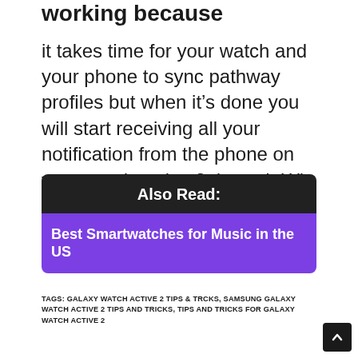working because
it takes time for your watch and your phone to sync pathway profiles but when it's done you will start receiving all your notification from the phone on your watch active 2 through Wi-Fi.
[Figure (infographic): Dark box with 'Also Read:' header and purple box below linking to 'Best Smartwatches for Music in the US']
TAGS: GALAXY WATCH ACTIVE 2 TIPS & TRCKS, SAMSUNG GALAXY WATCH ACTIVE 2 TIPS AND TRICKS, TIPS AND TRICKS FOR GALAXY WATCH ACTIVE 2